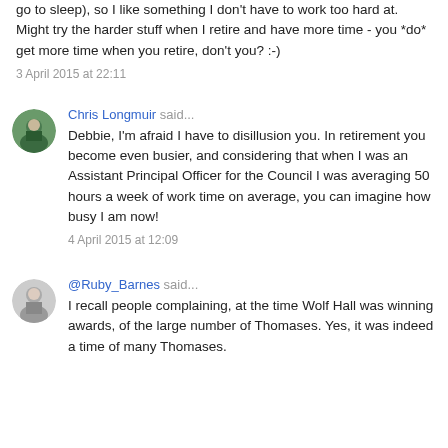go to sleep), so I like something I don't have to work too hard at. Might try the harder stuff when I retire and have more time - you *do* get more time when you retire, don't you? :-)
3 April 2015 at 22:11
Chris Longmuir said...
Debbie, I'm afraid I have to disillusion you. In retirement you become even busier, and considering that when I was an Assistant Principal Officer for the Council I was averaging 50 hours a week of work time on average, you can imagine how busy I am now!
4 April 2015 at 12:09
@Ruby_Barnes said...
I recall people complaining, at the time Wolf Hall was winning awards, of the large number of Thomases. Yes, it was indeed a time of many Thomases.